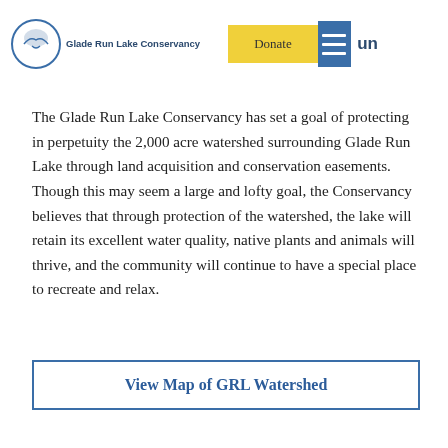[Figure (logo): Glade Run Lake Conservancy logo with circular emblem and text]
The Glade Run Lake Conservancy has set a goal of protecting in perpetuity the 2,000 acre watershed surrounding Glade Run Lake through land acquisition and conservation easements. Though this may seem a large and lofty goal, the Conservancy believes that through protection of the watershed, the lake will retain its excellent water quality, native plants and animals will thrive, and the community will continue to have a special place to recreate and relax.
View Map of GRL Watershed